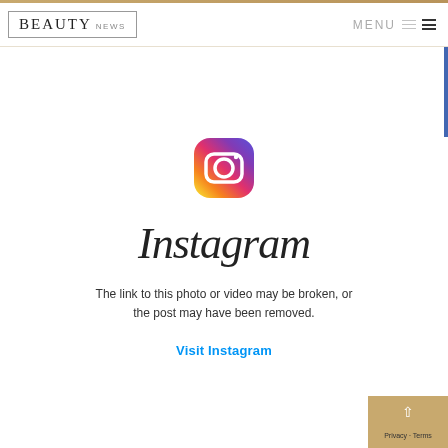BEAUTY NEWS | MENU
[Figure (logo): Instagram app icon with gradient (yellow-orange-pink-purple) rounded square, camera outline with circle and dot]
Instagram
The link to this photo or video may be broken, or the post may have been removed.
Visit Instagram